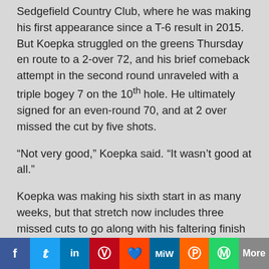Sedgefield Country Club, where he was making his first appearance since a T-6 result in 2015. But Koepka struggled on the greens Thursday en route to a 2-over 72, and his brief comeback attempt in the second round unraveled with a triple bogey 7 on the 10th hole. He ultimately signed for an even-round 70, and at 2 over missed the cut by five shots.
“Not very good,” Koepka said. “It wasn’t good at all.”
Koepka was making his sixth start in as many weeks, but that stretch now includes three missed cuts to go along with his faltering finish Sunday at the PGA Championship. Any hopes he had to salve the wounds of Harding Park went out the window quickly this week at Sedgefield,
[Figure (other): Social media sharing bar with Facebook, Twitter, LinkedIn, Pinterest, Reddit, MeWe, Mix, WhatsApp, and More buttons]